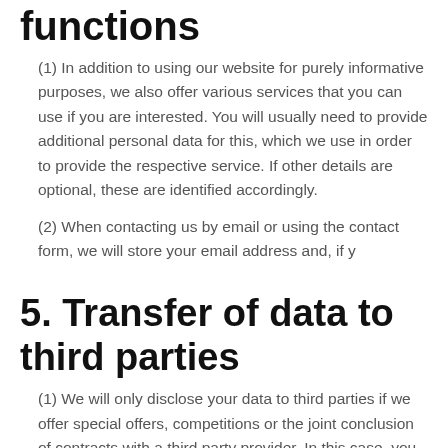functions
(1) In addition to using our website for purely informative purposes, we also offer various services that you can use if you are interested. You will usually need to provide additional personal data for this, which we use in order to provide the respective service. If other details are optional, these are identified accordingly.
(2) When contacting us by email or using the contact form, we will store your email address and, if y
5. Transfer of data to third parties
(1) We will only disclose your data to third parties if we offer special offers, competitions or the joint conclusion of contracts with a third party provider. In this case, you will be informed specifically about the